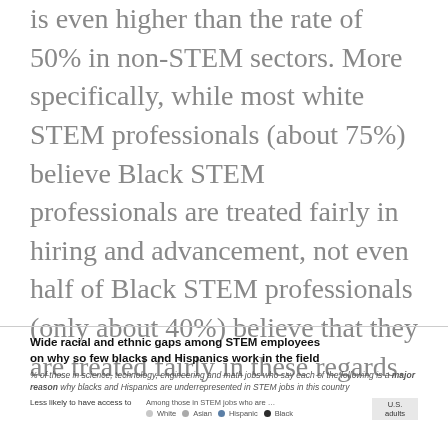is even higher than the rate of 50% in non-STEM sectors. More specifically, while most white STEM professionals (about 75%) believe Black STEM professionals are treated fairly in hiring and advancement, not even half of Black STEM professionals (only about 40%) believe that they are treated fairly in these regards.
Wide racial and ethnic gaps among STEM employees on why so few blacks and Hispanics work in the field
% of those in science, technology, engineering and math jobs who say each of the following is a major reason why blacks and Hispanics are underrepresented in STEM jobs in this country